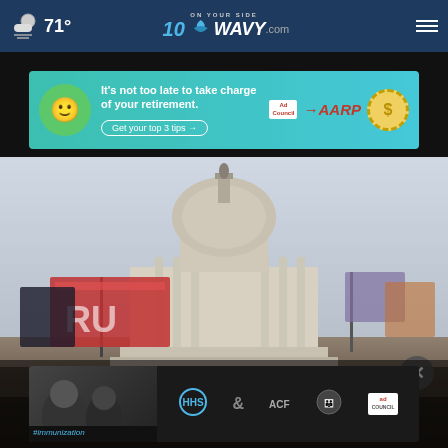71° WAVY.com ON YOUR SIDE
[Figure (screenshot): AARP advertisement banner: It's not too late to take charge of your retirement. Get your top 3 tips. Ad Council and AARP logos with dollar coin graphic.]
[Figure (photo): Photo of the United States Capitol building with Trump flags and crowd in foreground, overcast sky background.]
[Figure (screenshot): Bottom overlay advertisement with people in background, HHS, ACF, National Responsible Fatherhood Clearinghouse logos, and Ad Council logo.]